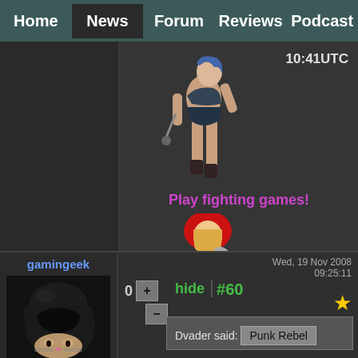Home | News | Forum | Reviews | Podcast
[Figure (screenshot): Advertisement banner showing anime-style fighting game character (female warrior) and text '10:41UTC', then 'Play fighting games!' in pink/purple, with a Red Riding Hood character holding an axe]
Wed, 19 Nov 2008 09:25:11
gamingeek
[Figure (photo): Photo of a cat wearing a Darth Vader helmet costume]
0  +  hide  #60
Dvader said:
Punk Rebel